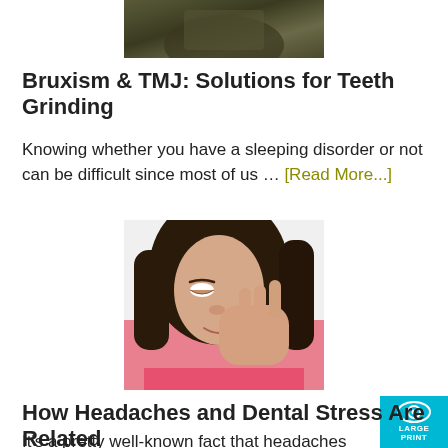[Figure (photo): Partial cropped photo of a person's hands/torso in dark olive/green clothing, top portion only visible]
Bruxism & TMJ: Solutions for Teeth Grinding
Knowing whether you have a sleeping disorder or not can be difficult since most of us … [Read More...]
[Figure (photo): Young woman with long dark hair holding her cheek/jaw in pain, wearing a pink top, suggesting dental or jaw pain]
How Headaches and Dental Stress Are Related
It's a pretty well-known fact that headaches are one of the most common pain-causing … [Read More...]